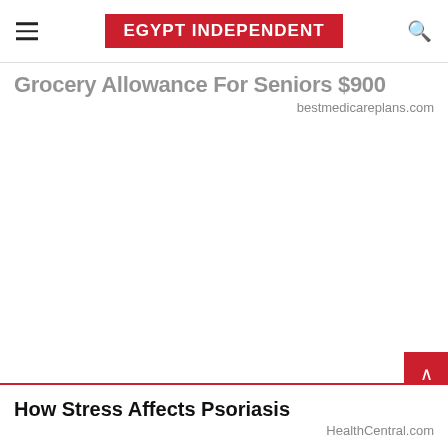EGYPT INDEPENDENT
Grocery Allowance For Seniors $900
bestmedicareplans.com
How Stress Affects Psoriasis
HealthCentral.com